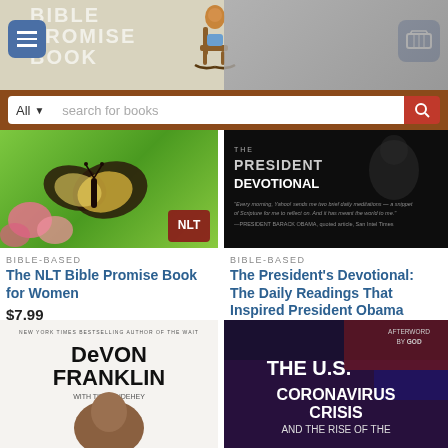[Figure (screenshot): Book store website header with 'BIBLE PROMISE BOOK' text and a rocking chair illustration, plus a hamburger menu button on the left and a cart button on the right. The right half shows a faded gray background.]
[Figure (screenshot): Search bar with 'All' dropdown and 'search for books' placeholder text, on a brownish-red background with a red search icon button.]
[Figure (photo): Book cover: The NLT Bible Promise Book for Women — green background with butterfly and pink flowers, NLT logo.]
BIBLE-BASED
The NLT Bible Promise Book for Women
$7.99
[Figure (photo): Book cover: The President's Devotional — dark/black cover with 'THE PRESIDENT'S DEVOTIONAL' title and a quote from President Barack Obama.]
BIBLE-BASED
The President's Devotional: The Daily Readings That Inspired President Obama
$24.99
[Figure (photo): Book cover: Devon Franklin — 'NEW YORK TIMES BESTSELLING AUTHOR OF THE WAIT, DEVON FRANKLIN WITH TIM VANDEHEY' with portrait photo.]
[Figure (photo): Book cover: The U.S. Coronavirus Crisis and the Rise of the Nettle — dark background with crowd, American flag, 'AFTERWORD BY GOD' text.]